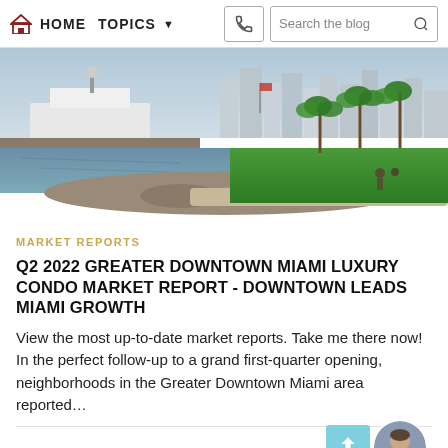HOME  TOPICS  Search the blog
[Figure (photo): Aerial/waterfront photo of downtown Miami showing a yacht docked at a marina, rocky seawall, lush green park, palm trees, and Miami skyline in the background]
MARKET REPORTS
Q2 2022 GREATER DOWNTOWN MIAMI LUXURY CONDO MARKET REPORT - DOWNTOWN LEADS MIAMI GROWTH
View the most up-to-date market reports. Take me there now! In the perfect follow-up to a grand first-quarter opening, neighborhoods in the Greater Downtown Miami area reported…
by Sep Niakan   August 19, 2022